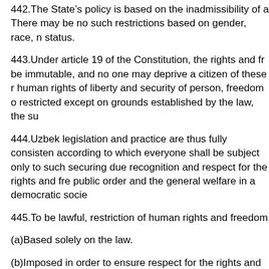442.The State’s policy is based on the inadmissibility of a... There may be no such restrictions based on gender, race, n... status.
443.Under article 19 of the Constitution, the rights and fr... be immutable, and no one may deprive a citizen of these r... human rights of liberty and security of person, freedom o... restricted except on grounds established by the law, the su...
444.Uzbek legislation and practice are thus fully consisten... according to which everyone shall be subject only to such... securing due recognition and respect for the rights and fre... public order and the general welfare in a democratic socie...
445.To be lawful, restriction of human rights and freedom...
(a)Based solely on the law.
(b)Imposed in order to ensure respect for the rights and fr... decency, public order and the general welfare in a democr... exceptional circumstances. National law on procedures ar... establishes precise and clear conditions and grounds for th...
446.Uzbek law and practice are fully in line with article o... Rights and article of 4 of the International Covenant on C... latter’s articles 6 (protection of the right to life as an inal...